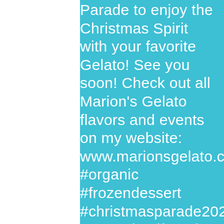…Parade to enjoy the Christmas Spirit with your favorite Gelato! See you soon! Check out all Marion's Gelato flavors and events on my website: www.marionsgelato.com. #organic #frozendessert #christmasparade2021 #natural #giftcard #customorder #mountpleasantfarmersmarket #delivery #chasnightmarket #vegan #vegetarian #smallbadge #bestingredients #delicious #foodies #peppermintbark #glutenfree #lactosefree #blueberrych